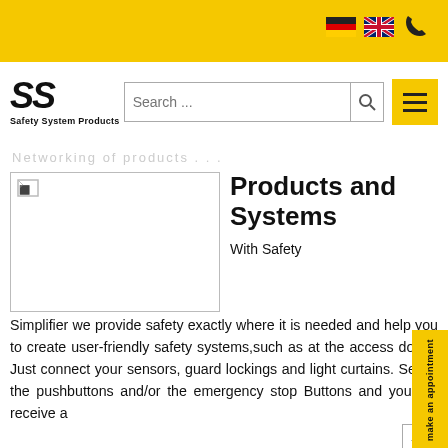Safety System Products – Navigation header with language flags, phone icon, logo, search bar, and menu button
Products and Systems
With Safety Simplifier we provide safety exactly where it is needed and help you to create user-friendly safety systems,such as at the access doors. Just connect your sensors, guard lockings and light curtains. Select the pushbuttons and/or the emergency stop Buttons and you will receive a